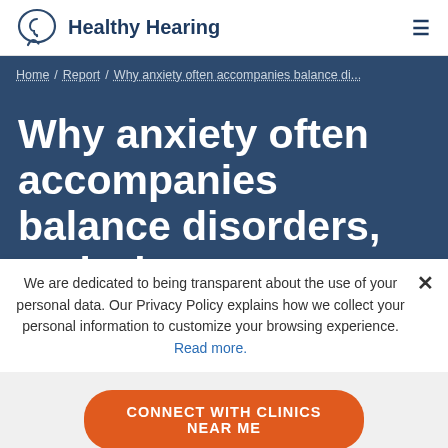Healthy Hearing
Home / Report / Why anxiety often accompanies balance di...
Why anxiety often accompanies balance disorders, and what to
We are dedicated to being transparent about the use of your personal data. Our Privacy Policy explains how we collect your personal information to customize your browsing experience. Read more.
CONNECT WITH CLINICS NEAR ME
Not sure? Take our online hearing test.